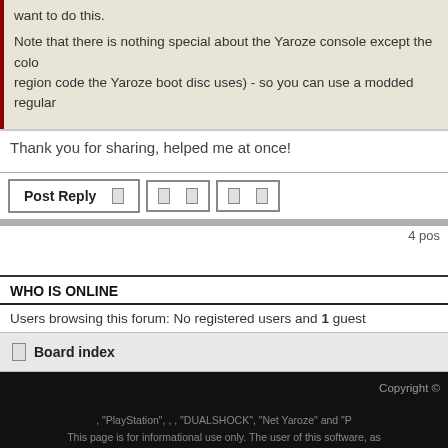want to do this.
Note that there is nothing special about the Yaroze console except the color (and the region code the Yaroze boot disc uses) - so you can use a modded regular
Thank you for sharing, helped me at once!
Post Reply  [buttons]  4 posts
WHO IS ONLINE
Users browsing this forum: No registered users and 1 guest
Board index
Copyright ©
"PlayStation", , , "DUALSHOCK", "Net Yaroze" and "P... This page is for informational use only. The user of this software, as... The software and hardware on this site is provide...